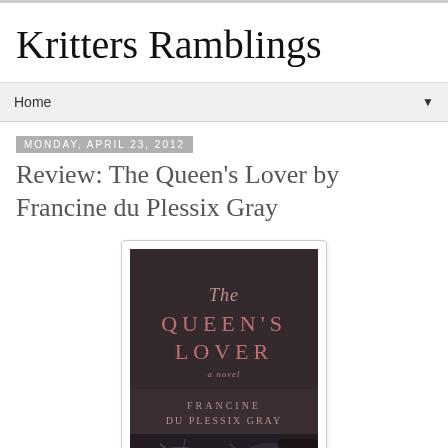Kritters Ramblings
Home
Monday, April 23, 2012
Review: The Queen's Lover by Francine du Plessix Gray
[Figure (photo): Book cover of 'The Queen's Lover' by Francine du Plessix Gray — dark background with title text and author name, showing objects on a surface.]